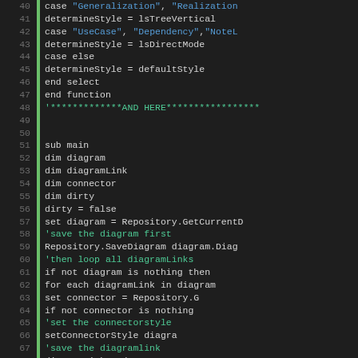[Figure (screenshot): Source code listing in a dark-themed code editor showing VBScript/VBA code lines 40-69, with line numbers on the left, a green vertical bar, and syntax highlighting (blue for strings, green for comments, grey for code).]